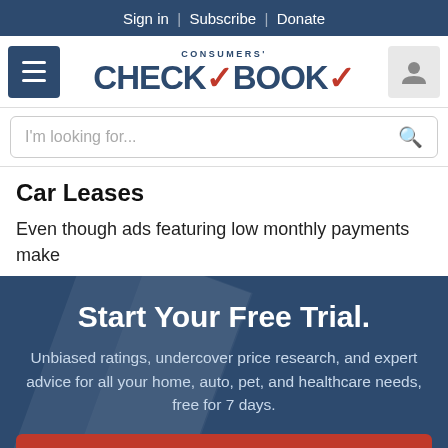Sign in | Subscribe | Donate
[Figure (logo): Consumers' Checkbook logo with hamburger menu and user icon]
I'm looking for...
Car Leases
Even though ads featuring low monthly payments make
Start Your Free Trial.
Unbiased ratings, undercover price research, and expert advice for all your home, auto, pet, and healthcare needs, free for 7 days.
GET STARTED
NO THANKS, MAYBE LATER.